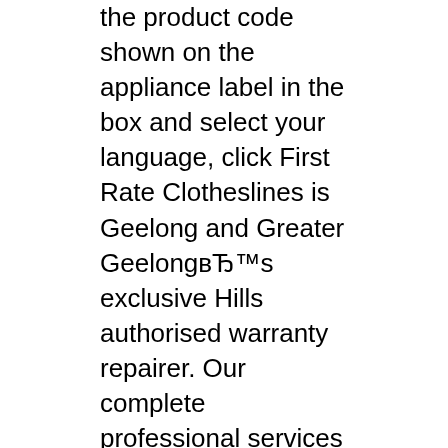the product code shown on the appliance label in the box and select your language, click First Rate Clotheslines is Geelong and Greater GeelongвЂ™s exclusive Hills authorised warranty repairer. Our complete professional services cover clotheslines repairs, sale and supply of spare parts and rewires. As accredited professionals with a wealth of expertise, we provide genuine service and pro...
Post Kit Folding Frame Clothesline Product Manual. Spare_FD900030_FD900032_Top Pivot Assembly Supafold Folding Frame. Spare_FD901157_FD901158_Bottom Pivot Assembly Supafold Folding Frame.